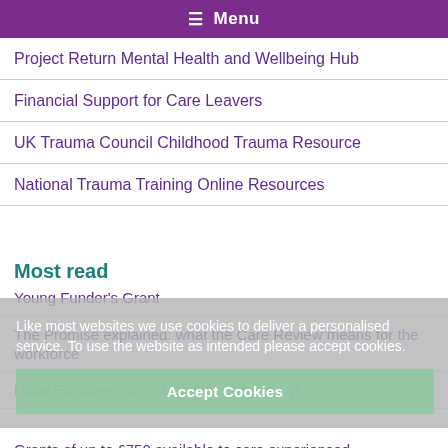≡ Menu
Project Return Mental Health and Wellbeing Hub
Financial Support for Care Leavers
UK Trauma Council Childhood Trauma Resource
National Trauma Training Online Resources
Most read
Young Funder's Grant
The Promise explained: what the Care Review means for the workforce
Local Elections 2022: Manifesto Round-Up
Grants of up to £750 available to care experienced
Like most websites we use cookies to deliver a personalised service. To use the website as intended please accept cookies.
Accept Cookies